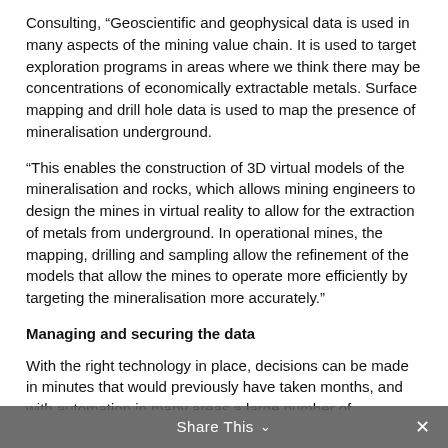Consulting, “Geoscientific and geophysical data is used in many aspects of the mining value chain. It is used to target exploration programs in areas where we think there may be concentrations of economically extractable metals. Surface mapping and drill hole data is used to map the presence of mineralisation underground.
“This enables the construction of 3D virtual models of the mineralisation and rocks, which allows mining engineers to design the mines in virtual reality to allow for the extraction of metals from underground. In operational mines, the mapping, drilling and sampling allow the refinement of the models that allow the mines to operate more efficiently by targeting the mineralisation more accurately.”
Managing and securing the data
With the right technology in place, decisions can be made in minutes that would previously have taken months, and with automation in many areas a large number of improvements can be realised. However, while the potential for data analysis is exciting, the volumes of data generated pose a significant challenge for many mining organisations.
Share This